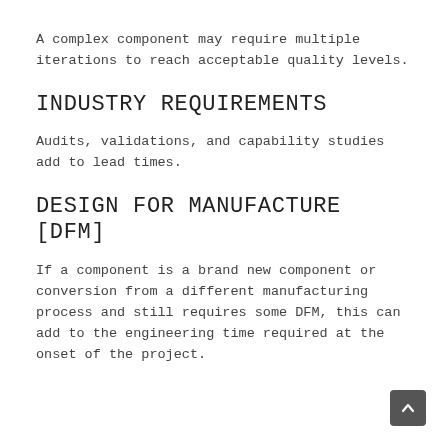A complex component may require multiple iterations to reach acceptable quality levels.
INDUSTRY REQUIREMENTS
Audits, validations, and capability studies add to lead times.
DESIGN FOR MANUFACTURE [DFM]
If a component is a brand new component or conversion from a different manufacturing process and still requires some DFM, this can add to the engineering time required at the onset of the project.